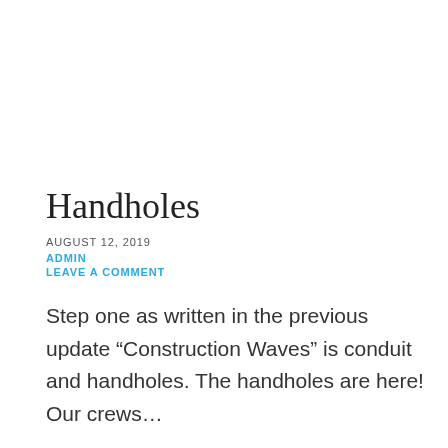Handholes
AUGUST 12, 2019
ADMIN
LEAVE A COMMENT
Step one as written in the previous update “Construction Waves” is conduit and handholes. The handholes are here! Our crews…
CONTINUE READING →